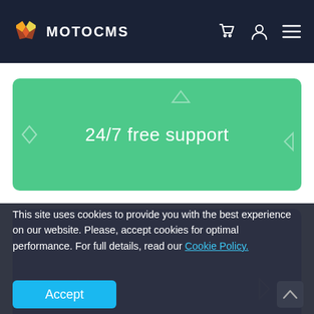[Figure (screenshot): MotoCMS website navigation bar with logo, cart icon, user icon, and hamburger menu]
[Figure (illustration): Green rounded card with decorative shapes and text '24/7 free support' in white]
[Figure (illustration): Purple/violet rounded card with decorative shapes and text 'SEO Functionality' in semi-transparent white]
This site uses cookies to provide you with the best experience on our website. Please, accept cookies for optimal performance. For full details, read our Cookie Policy.
Accept